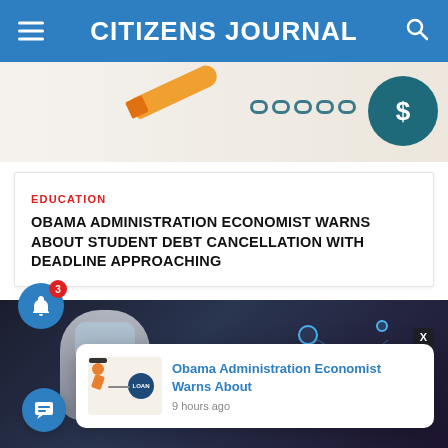CITIZENS JOURNAL
[Figure (illustration): Decorative banner illustration showing a pencil, chain links, and a dollar sign coin icon in orange and teal]
EDUCATION
OBAMA ADMINISTRATION ECONOMIST WARNS ABOUT STUDENT DEBT CANCELLATION WITH DEADLINE APPROACHING
[Figure (photo): Robot humanoid figure with glowing network/AI icons in the background, dark blue tone]
[Figure (illustration): Notification popup showing Obama Administration Economist Warns About article thumbnail with person dragging loan ball and chain, 9 hours ago timestamp]